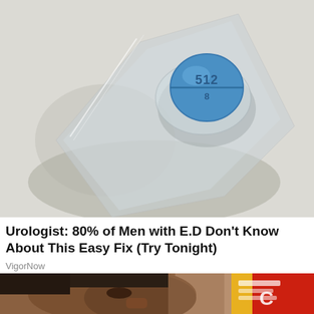[Figure (photo): Close-up photo of a round blue pill with '512' imprinted on it, resting in a clear plastic blister pack on a white fabric surface.]
Urologist: 80% of Men with E.D Don't Know About This Easy Fix (Try Tonight)
VigorNow
[Figure (photo): Photo of a man looking sideways at a yellow/red food package, showing the side profile of his face with short hair.]